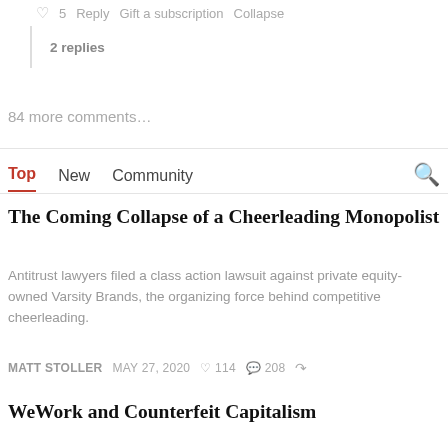5  Reply  Gift a subscription  Collapse
2 replies
84 more comments…
Top  New  Community
The Coming Collapse of a Cheerleading Monopolist
Antitrust lawyers filed a class action lawsuit against private equity-owned Varsity Brands, the organizing force behind competitive cheerleading.
MATT STOLLER  MAY 27, 2020  ♡ 114  ◯ 208
WeWork and Counterfeit Capitalism